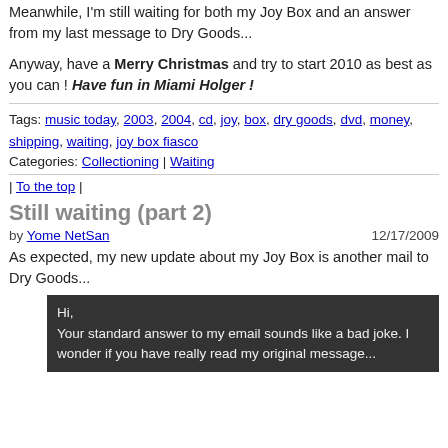Meanwhile, I'm still waiting for both my Joy Box and an answer from my last message to Dry Goods...
Anyway, have a Merry Christmas and try to start 2010 as best as you can ! Have fun in Miami Holger !
Tags: music today, 2003, 2004, cd, joy, box, dry goods, dvd, money, shipping, waiting, joy box fiasco
Categories: Collectioning | Waiting
| To the top |
Still waiting (part 2)
by Yome NetSan   12/17/2009
As expected, my new update about my Joy Box is another mail to Dry Goods...
Hi,
Your standard answer to my email sounds like a bad joke. I wonder if you have really read my original message...